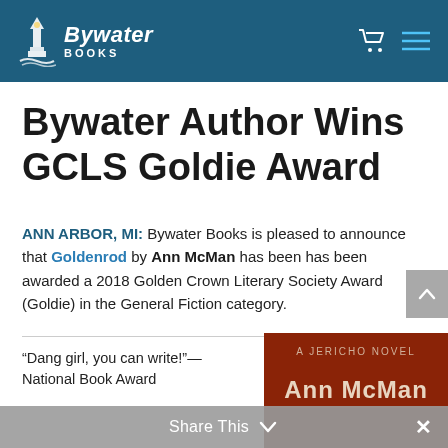Bywater Books
Bywater Author Wins GCLS Goldie Award
ANN ARBOR, MI:  Bywater Books is pleased to announce that Goldenrod by Ann McMan has been has been awarded a 2018 Golden Crown Literary Society Award (Goldie) in the General Fiction category.
“Dang girl, you can write!”—National Book Award
[Figure (photo): Book cover for a Jericho Novel by Ann McMan, dark reddish cover]
Share This